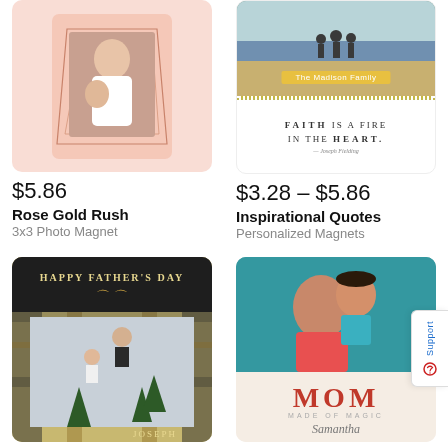[Figure (photo): Rose Gold Rush 3x3 Photo Magnet product image - pink background with geometric frame and baby photo]
[Figure (photo): Inspirational Quotes magnet with beach family photo, yellow banner 'The Madison Family', text 'Faith is a fire in the heart.']
$5.86
$3.28 – $5.86
Rose Gold Rush
Inspirational Quotes
3x3 Photo Magnet
Personalized Magnets
[Figure (photo): Happy Father's Day magnet with plaid border, dark top bar, photo of man tossing child, name JOSEPH]
[Figure (photo): Mom magnet with photo of mother and daughter, MOM text made of flowers, 'Made of Magic' and name Samantha]